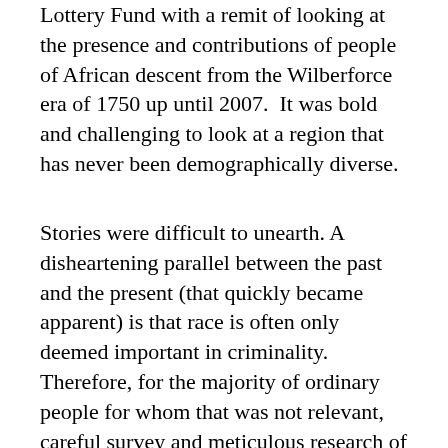Lottery Fund with a remit of looking at the presence and contributions of people of African descent from the Wilberforce era of 1750 up until 2007.  It was bold and challenging to look at a region that has never been demographically diverse.
Stories were difficult to unearth. A disheartening parallel between the past and the present (that quickly became apparent) is that race is often only deemed important in criminality. Therefore, for the majority of ordinary people for whom that was not relevant, careful survey and meticulous research of local and national archives was needed to yield results. The emergence of themes such as maritime, religion, education, service members, judiciary, occupations, sports, activism and the arts demonstrated a broad Black presence in Hull and East Yorkshire. The outcome was helped by the